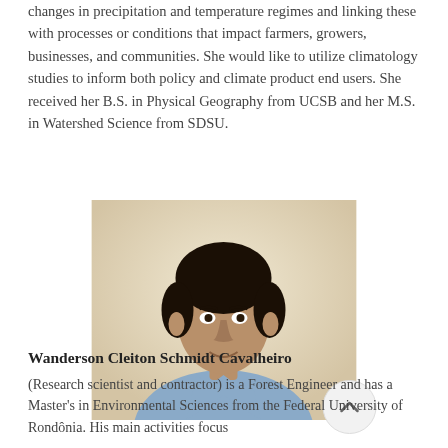changes in precipitation and temperature regimes and linking these with processes or conditions that impact farmers, growers, businesses, and communities. She would like to utilize climatology studies to inform both policy and climate product end users. She received her B.S. in Physical Geography from UCSB and her M.S. in Watershed Science from SDSU.
[Figure (photo): Headshot photo of a man with dark hair wearing a light blue shirt, against a light beige/cream background.]
Wanderson Cleiton Schmidt Cavalheiro
(Research scientist and contractor) is a Forest Engineer and has a Master's in Environmental Sciences from the Federal University of Rondônia. His main activities focus